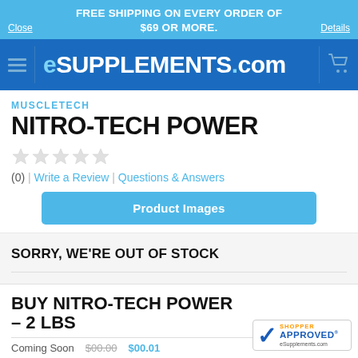FREE SHIPPING ON EVERY ORDER OF $69 OR MORE.
[Figure (logo): eSUPPLEMENTS.com navigation bar with hamburger menu and shopping cart icon]
MUSCLETECH
NITRO-TECH POWER
(0) | Write a Review | Questions & Answers
Product Images
SORRY, WE'RE OUT OF STOCK
BUY NITRO-TECH POWER – 2 LBS
[Figure (logo): Shopper Approved badge for eSupplements.com]
Coming Soon